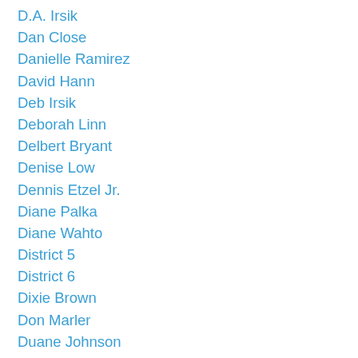D.A. Irsik
Dan Close
Danielle Ramirez
David Hann
Deb Irsik
Deborah Linn
Delbert Bryant
Denise Low
Dennis Etzel Jr.
Diane Palka
Diane Wahto
District 5
District 6
Dixie Brown
Don Marler
Duane Johnson
Duane L. Herrmann
Edna Bell Pearson
Edna Bell-Pearson
Edna Dyck
Effie Gyf